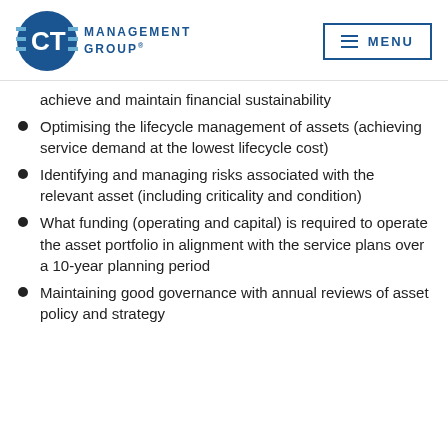CT Management Group® | MENU
achieve and maintain financial sustainability
Optimising the lifecycle management of assets (achieving service demand at the lowest lifecycle cost)
Identifying and managing risks associated with the relevant asset (including criticality and condition)
What funding (operating and capital) is required to operate the asset portfolio in alignment with the service plans over a 10-year planning period
Maintaining good governance with annual reviews of asset policy and strategy